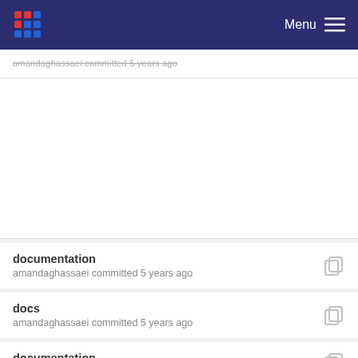Menu
amandaghassaei committed 5 years ago
documentation
amandaghassaei committed 5 years ago
docs
amandaghassaei committed 5 years ago
documentation